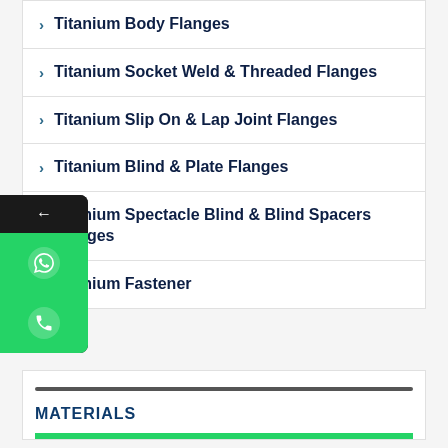Titanium Body Flanges
Titanium Socket Weld & Threaded Flanges
Titanium Slip On & Lap Joint Flanges
Titanium Blind & Plate Flanges
Titanium Spectacle Blind & Blind Spacers Flanges
Titanium Fastener
MATERIALS